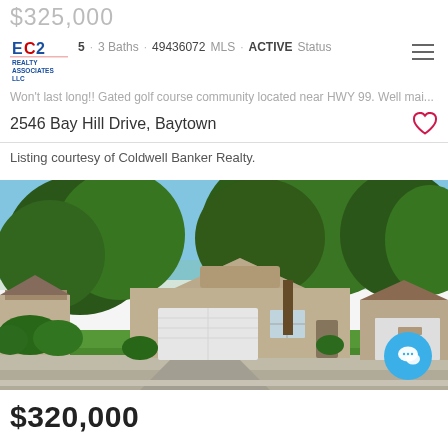$325,000
5  ·  3 Baths  ·  49436072 MLS  ·  ACTIVE Status
Won't last long!! Gated golf course community located near HWY 99. Well mai...
2546 Bay Hill Drive, Baytown
Listing courtesy of Coldwell Banker Realty.
[Figure (photo): Exterior photo of a single-story brick home with two-car garage, large trees, and green lawn on Bay Hill Drive, Baytown]
$320,000